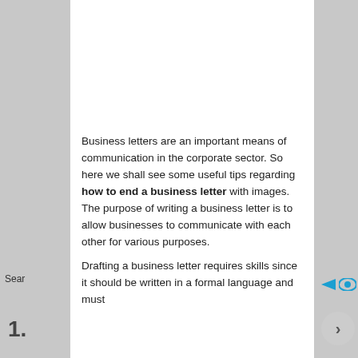All Form Templates
[Figure (illustration): Advertisement placeholder area (white rectangle)]
Business letters are an important means of communication in the corporate sector. So here we shall see some useful tips regarding how to end a business letter with images. The purpose of writing a business letter is to allow businesses to communicate with each other for various purposes.
Drafting a business letter requires skills since it should be written in a formal language and must